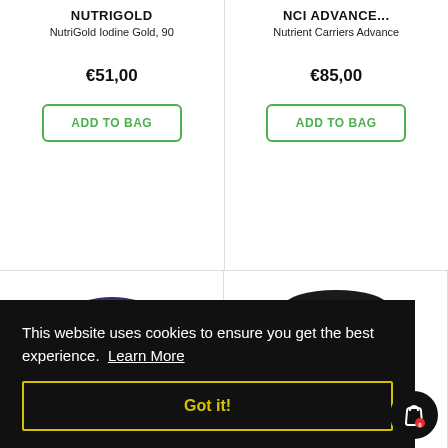NUTRIGOLD
NutriGold Iodine Gold, 90
€51,00
ADD TO BAG
NCI ADVANCE...
Nutrient Carriers Advance
€85,00
ADD TO BAG
[Figure (photo): White supplement bottle with dark blue/purple lid]
[Figure (photo): Dark amber jar with red and black label reading NCI PRO and NEBET(?)]
This website uses cookies to ensure you get the best experience. Learn More
Got it!